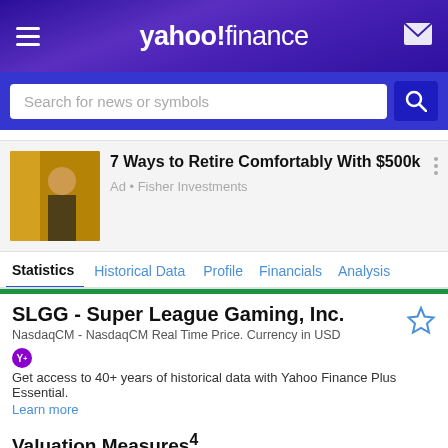yahoo!finance
Search for news or symbols
[Figure (photo): Advertisement image of a person on a beach with a yellow door]
7 Ways to Retire Comfortably With $500k
Ad • Fisher Investments
Statistics | Historical Data | Profile | Financials | Analysis
SLGG - Super League Gaming, Inc.
NasdaqCM - NasdaqCM Real Time Price. Currency in USD
Get access to 40+ years of historical data with Yahoo Finance Plus Essential. Learn more
Valuation Measures4
Annual | Quarterly | Monthly | Download
Current